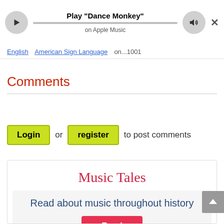[Figure (screenshot): Music player bar with play button, progress bar, title 'Play Dance Monkey' and subtitle 'on Apple Music', volume button, and close button]
English  American Sign Language  on...1001
Comments
Login or register to post comments
[Figure (screenshot): Music Tales promotional box with title 'Music Tales', subtitle 'Read about music throughout history', and a red Read button]